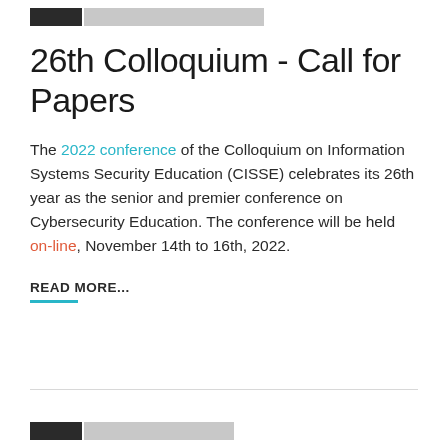26th Colloquium - Call for Papers
The 2022 conference of the Colloquium on Information Systems Security Education (CISSE) celebrates its 26th year as the senior and premier conference on Cybersecurity Education. The conference will be held on-line, November 14th to 16th, 2022.
READ MORE...